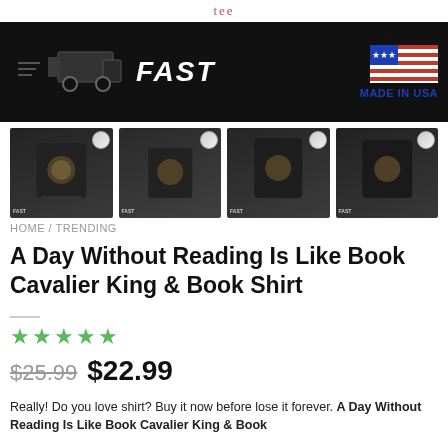tee
[Figure (photo): Dark banner showing a delivery truck silhouette with the word FAST in bold italic white text on the left, and a USA flag graphic with text MADE IN USA on the right, dark background]
[Figure (photo): Four product thumbnail images showing people wearing a black t-shirt with a colorful vintage-style book and dog graphic]
HOME / TRENDING
A Day Without Reading Is Like Book Cavalier King & Book Shirt
[Figure (other): Five green star rating icons]
$25.99  $22.99
Really! Do you love shirt? Buy it now before lose it forever. A Day Without Reading Is Like Book Cavalier King & Book